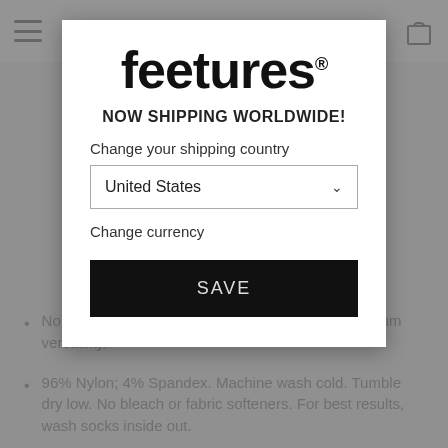[Figure (screenshot): Feetures website popup modal for shipping country selection with logo, dropdown, and save button]
feetures.
NOW SHIPPING WORLDWIDE!
Change your shipping country
United States
Change currency
SAVE
No Show Tab height sits below the ankle for maximum versatility.
96% Nylon; 4% Spandex. Machine wash cold. Tumble dry low. No bleach or fabric softeners. For best results, wash socks inside out.